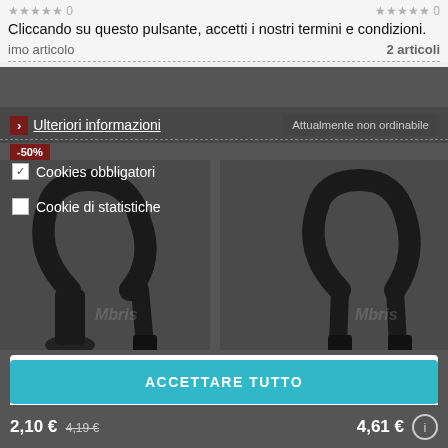Cliccando su questo pulsante, accetti i nostri termini e condizioni.
imo articolo   2 articoli
> Ulteriori informazioni   Attualmente non ordinabile
Cookies obbligatori
Cookie di statistiche
NEGA TUTTO
ACCETTA LA SELEZIONE CORRENTE
ACCETTARE TUTTO
2,10 € 4,19 €   4,61 €